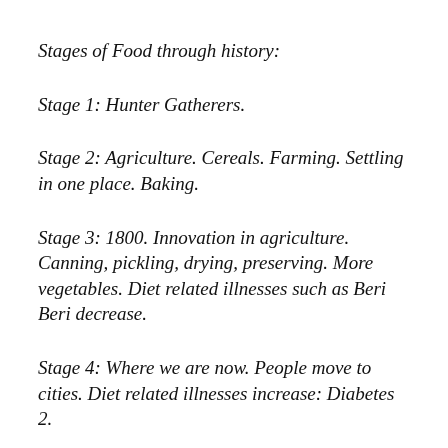Stages of Food through history:
Stage 1: Hunter Gatherers.
Stage 2: Agriculture. Cereals. Farming. Settling in one place. Baking.
Stage 3: 1800. Innovation in agriculture. Canning, pickling, drying, preserving. More vegetables. Diet related illnesses such as Beri Beri decrease.
Stage 4: Where we are now. People move to cities. Diet related illnesses increase: Diabetes 2.